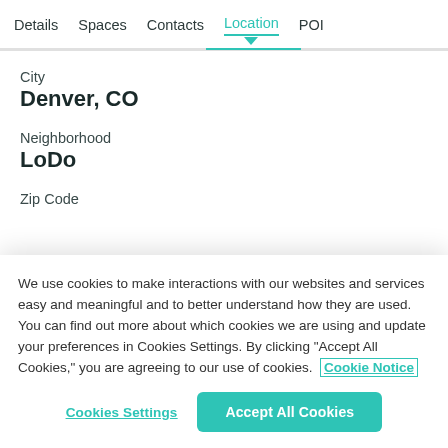Details  Spaces  Contacts  Location  POI
City
Denver, CO
Neighborhood
LoDo
Zip Code
We use cookies to make interactions with our websites and services easy and meaningful and to better understand how they are used. You can find out more about which cookies we are using and update your preferences in Cookies Settings. By clicking "Accept All Cookies," you are agreeing to our use of cookies.  Cookie Notice
Cookies Settings
Accept All Cookies